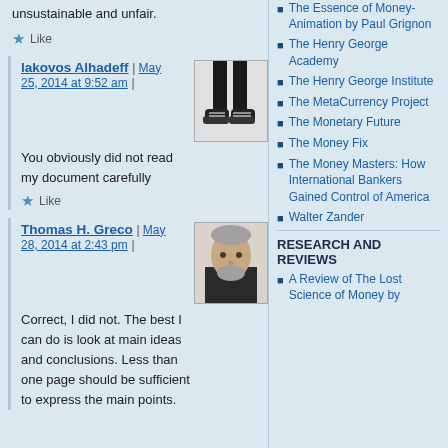unsustainable and unfair.
Like
Iakovos Alhadeff | May 25, 2014 at 9:52 am |
You obviously did not read my document carefully
Like
Thomas H. Greco | May 28, 2014 at 2:43 pm |
Correct, I did not. The best I can do is look at main ideas and conclusions. Less than one page should be sufficient to express the main points.
The Essence of Money-Animation by Paul Grignon
The Henry George Academy
The Henry George Institute
The MetaCurrency Project
The Monetary Future
The Money Fix
The Money Masters: How International Bankers Gained Control of America
Walter Zander
RESEARCH AND REVIEWS
A Review of The Lost Science of Money by